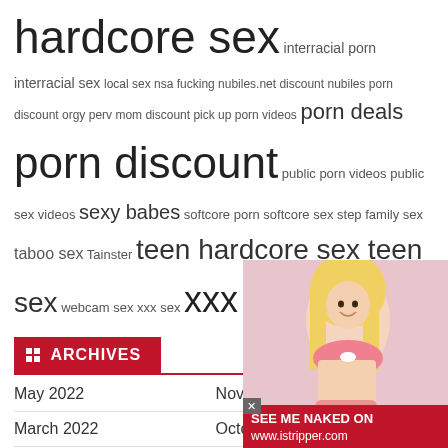hardcore sex interracial porn interracial sex local sex nsa fucking nubiles.net discount nubiles porn discount orgy perv mom discount pick up porn videos porn deals porn discount public porn videos public sex videos sexy babes softcore porn softcore sex step family sex taboo sex Tainster teen hardcore sex teen sex webcam sex xxx sex xxx videos
ARCHIVES
May 2022  November 2019
March 2022  October 2019
February 2022  September 2019
December 2021  August 2019
November 2021  July 2019
October 2021  June 2019
September 2021  May 2019
[Figure (photo): Blonde woman in pink lingerie with istripper.com advertisement banner]